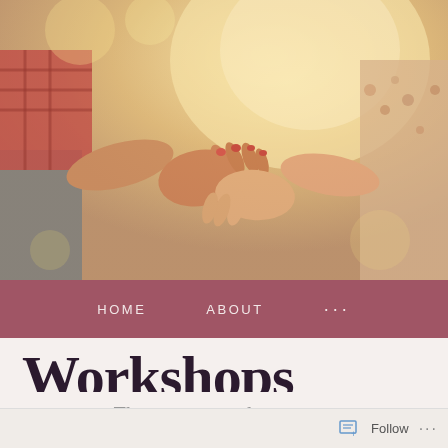[Figure (photo): Two people holding hands in warm sunlit outdoor setting, close-up of hands interlocked]
HOME   ABOUT   ...
Workshops
These are past lower cost
Follow   ...